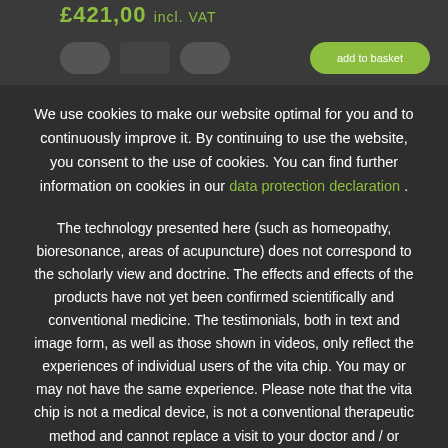£421,00 incl. VAT
We use cookies to make our website optimal for you and to continuously improve it. By continuing to use the website, you consent to the use of cookies. You can find further information on cookies in our data protection declaration .
The technology presented here (such as homeopathy, bioresonance, areas of acupuncture) does not correspond to the scholarly view and doctrine. The effects and effects of the products have not yet been confirmed scientifically and conventional medicine. The testimonials, both in text and image form, as well as those shown in videos, only reflect the experiences of individual users of the vita chip. You may or may not have the same experience. Please note that the vita chip is not a medical device, is not a conventional therapeutic method and cannot replace a visit to your doctor and / or alternative practitioner!
OK
Settings